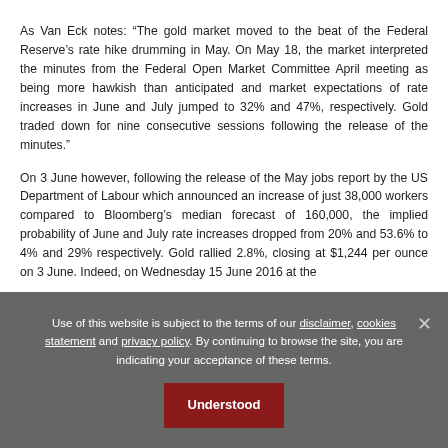As Van Eck notes: “The gold market moved to the beat of the Federal Reserve’s rate hike drumming in May. On May 18, the market interpreted the minutes from the Federal Open Market Committee April meeting as being more hawkish than anticipated and market expectations of rate increases in June and July jumped to 32% and 47%, respectively. Gold traded down for nine consecutive sessions following the release of the minutes.”
On 3 June however, following the release of the May jobs report by the US Department of Labour which announced an increase of just 38,000 workers compared to Bloomberg’s median forecast of 160,000, the implied probability of June and July rate increases dropped from 20% and 53.6% to 4% and 29% respectively. Gold rallied 2.8%, closing at $1,244 per ounce on 3 June. Indeed, on Wednesday 15 June 2016 at the
Use of this website is subject to the terms of our disclaimer, cookies statement and privacy policy. By continuing to browse the site, you are indicating your acceptance of these terms.